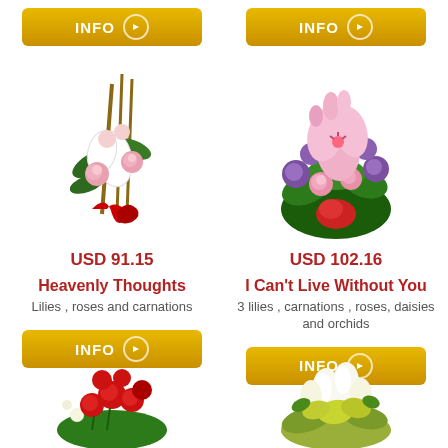[Figure (photo): INFO button row at top of page, two golden INFO buttons side by side]
[Figure (photo): Floral arrangement - Heavenly Thoughts: tall arrangement with lilies, roses and carnations with red ribbon]
USD 91.15
Heavenly Thoughts
Lilies , roses and carnations
[Figure (photo): Floral arrangement - I Can't Live Without You: pink lilies, purple carnations, roses, daisies and orchids]
USD 102.16
I Can't Live Without You
3 lilies , carnations , roses, daisies and orchids
[Figure (photo): INFO button for Heavenly Thoughts]
[Figure (photo): INFO button for I Can't Live Without You]
[Figure (photo): Bottom left flower arrangement with red roses/carnations]
[Figure (photo): Bottom right flower arrangement with white/yellow tulips and orchids]